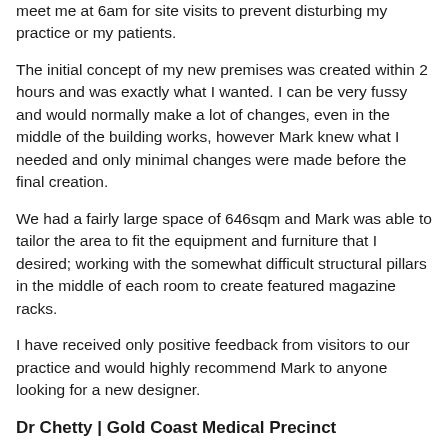meet me at 6am for site visits to prevent disturbing my practice or my patients.
The initial concept of my new premises was created within 2 hours and was exactly what I wanted. I can be very fussy and would normally make a lot of changes, even in the middle of the building works, however Mark knew what I needed and only minimal changes were made before the final creation.
We had a fairly large space of 646sqm and Mark was able to tailor the area to fit the equipment and furniture that I desired; working with the somewhat difficult structural pillars in the middle of each room to create featured magazine racks.
I have received only positive feedback from visitors to our practice and would highly recommend Mark to anyone looking for a new designer.
Dr Chetty | Gold Coast Medical Precinct